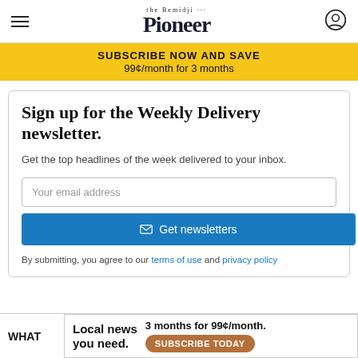Bemidji Pioneer
SUBSCRIBE NOW AND SAVE
99¢/month for 3 months
Sign up for the Weekly Delivery newsletter.
Get the top headlines of the week delivered to your inbox.
Your email address
Get newsletters
By submitting, you agree to our terms of use and privacy policy
Local news you need.  3 months for 99¢/month.  SUBSCRIBE TODAY